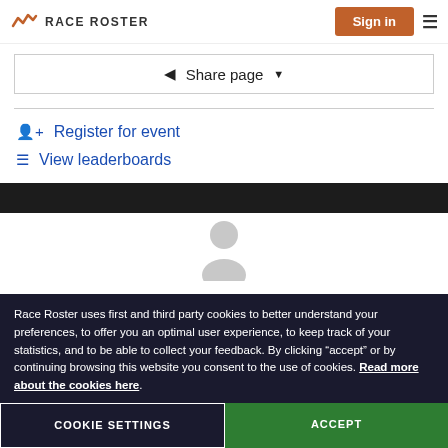RACE ROSTER | Sign in
Share page
Register for event
View leaderboards
[Figure (illustration): Generic person/profile placeholder silhouette icon in gray on white background]
Race Roster uses first and third party cookies to better understand your preferences, to offer you an optimal user experience, to keep track of your statistics, and to be able to collect your feedback. By clicking “accept” or by continuing browsing this website you consent to the use of cookies. Read more about the cookies here.
COOKIE SETTINGS
ACCEPT